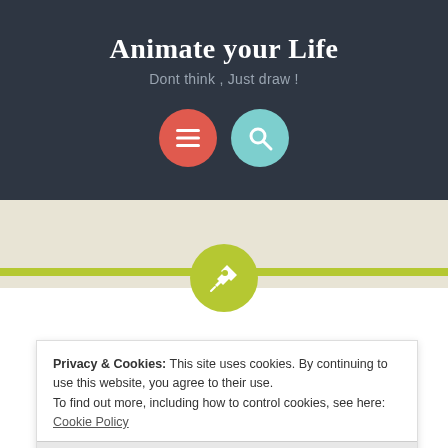Animate your Life
Dont think , Just draw !
[Figure (illustration): Two circular icon buttons: a red circle with a hamburger menu icon and a teal circle with a magnifying glass search icon]
[Figure (illustration): Yellow-green horizontal divider line with a yellow-green circle containing a white pushpin/thumbtack icon centered on it]
Happy New Year !
Privacy & Cookies: This site uses cookies. By continuing to use this website, you agree to their use.
To find out more, including how to control cookies, see here: Cookie Policy
Close and accept